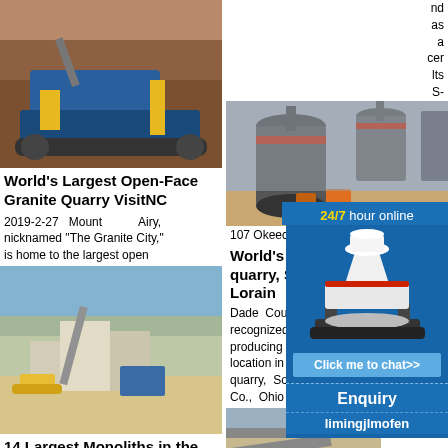[Figure (photo): Photo of a mobile crusher/mining equipment at a granite quarry site with rocky terrain]
World's Largest Open-Face Granite Quarry VisitNC
2019-2-27 Mount Airy, nicknamed "The Granite City," is home to the largest open
[Figure (photo): Photo of a large open quarry with construction equipment and machinery]
14 Largest Monoliths in the World (with Map) - Touropia
countries and the class, enough to be plenty startled when we set off an explosion, which occurs several times each day.
2021-8-8 It is the largest
[Figure (photo): Photo of industrial grinding/milling machines in a factory]
World's largest sandstone quarry, South Amherst, Lorain
Dade County, FL has been recognized as the largest-producing crushed stone location in quarry, So Co., Ohio
[Figure (photo): Photo of quarry with industrial equipment and storage areas]
Columbus Caopas - biggest g producer
The gyps
[Figure (photo): Cone crusher machine illustration in online chat widget]
24/7 hour online
Click me to chat>>
Enquiry
limingjlmofen